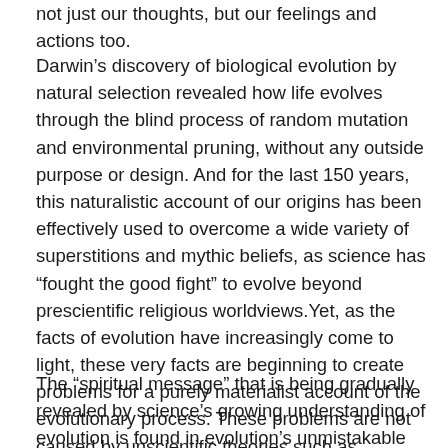not just our thoughts, but our feelings and actions too.
Darwin's discovery of biological evolution by natural selection revealed how life evolves through the blind process of random mutation and environmental pruning, without any outside purpose or design. And for the last 150 years, this naturalistic account of our origins has been effectively used to overcome a wide variety of superstitions and mythic beliefs, as science has "fought the good fight" to evolve beyond prescientific religious worldviews. Yet, as the facts of evolution have increasingly come to light, these very facts are beginning to create problems for a purely materialist account of the evolutionary process. These problems are not caused by unscientific theories such as "intelligent design"; rather, they are arising from science's own discovery that everything in the universe is evolving: matter, life, human culture, and even consciousness itself.
The “spiritual message” that is being gradually revealed by science’s growing understanding of evolution is found in evolution’s unmistakable progress. Although some scientists try to deny evolutionary progress, we must ask ourselves: Has